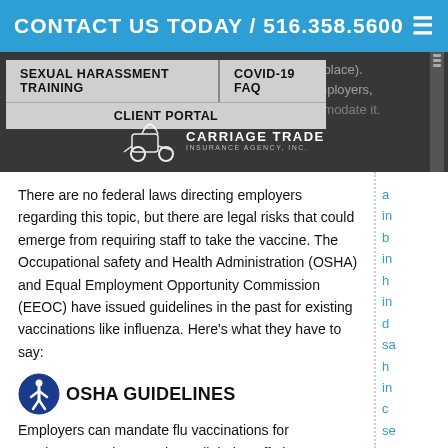CONTACT US TODAY / 516.358.5600
[Figure (screenshot): Navigation overlay with links: SEXUAL HARASSMENT TRAINING, COVID-19 FAQ, CLIENT PORTAL. Carriage Trade Insurance Agency, Inc. logo visible.]
There are no federal laws directing employers regarding this topic, but there are legal risks that could emerge from requiring staff to take the vaccine. The Occupational safety and Health Administration (OSHA) and Equal Employment Opportunity Commission (EEOC) have issued guidelines in the past for existing vaccinations like influenza. Here's what they have to say:
OSHA GUIDELINES
Employers can mandate flu vaccinations for employees, as long as they tell their staff about